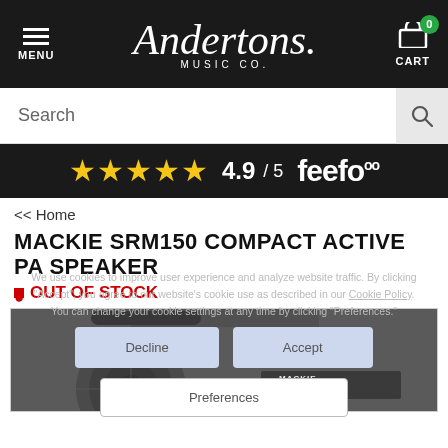Andertons Music Co. | MENU | CART (0)
Search
[Figure (infographic): Feefo rating banner: 5 gold stars, 4.9 / 5 feefo logo]
<< Home
MACKIE SRM150 COMPACT ACTIVE PA SPEAKER
OUT OF STOCK
We use cookies to improve user experience and analyze website traffic. By clicking "Accept", you agree to our website's cookie use as described in our Cookie Policy. You can change your cookie settings at any time by clicking "Preferences."
[Figure (photo): Bottom portion of a Mackie SRM150 compact active PA speaker, dark grey/black color, showing the Mackie SRM150 branding label]